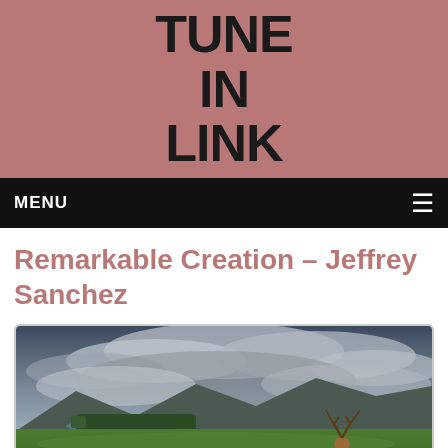TUNE IN LINK
MENU
Remarkable Creation – Jeffrey Sanchez
[Figure (photo): A red deer stag standing in a green meadow with a Scottish Highland landscape behind it, featuring a loch, mountains, and dramatic stormy clouds in the sky.]